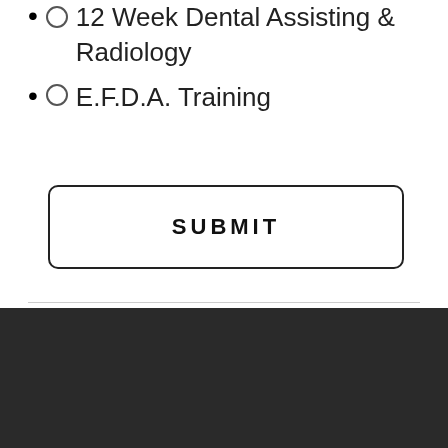12 Week Dental Assisting & Radiology
E.F.D.A. Training
SUBMIT
[Figure (logo): Dental Office Training by Lynn logo — circular pink border on dark background with white serif text reading DENTAL OFFICE TRAINING and pink script 'by Lynn']